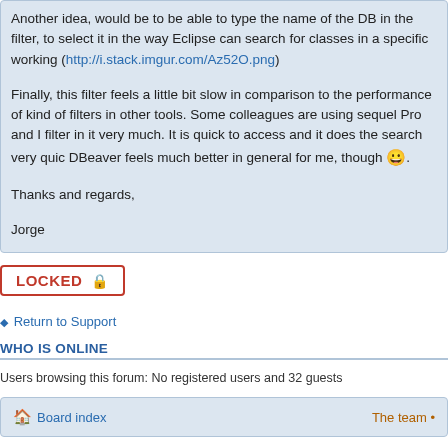Another idea, would be to be able to type the name of the DB in the filter, to select it in the way Eclipse can search for classes in a specific working (http://i.stack.imgur.com/Az52O.png)
Finally, this filter feels a little bit slow in comparison to the performance of kind of filters in other tools. Some colleagues are using sequel Pro and I filter in it very much. It is quick to access and it does the search very quic DBeaver feels much better in general for me, though 😀.
Thanks and regards,
Jorge
LOCKED 🔒
Return to Support
WHO IS ONLINE
Users browsing this forum: No registered users and 32 guests
Board index   The team •
Powered by phpBB © 2000, 2002, 2005, 2007 phpBB Time : 0.158s | 10 Queries | GZIP : Off